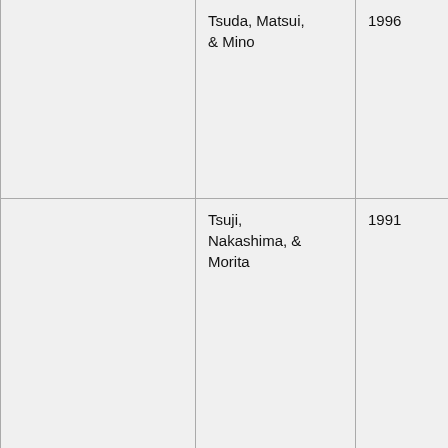| Author(s) | Year | Source |
| --- | --- | --- |
| Tsuda, Matsui, & Mino | 1996 | Proceedings of the Fifth International Colloquium on Structural Stability |
| Tsuji, Nakashima, & Morita | 1991 | Proceedings of the Third International Conference on Steel-Concrete Composite Structures |